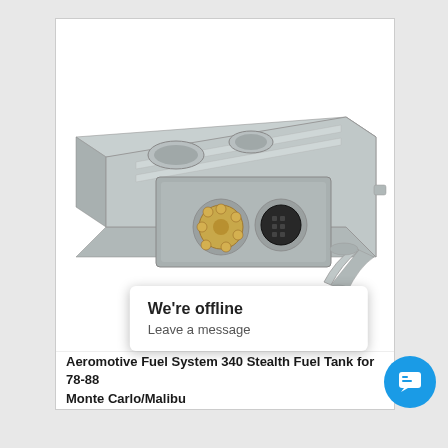[Figure (photo): Aeromotive Fuel System 340 Stealth Fuel Tank for 78-88 Monte Carlo/Malibu. Shows a silver/aluminum fuel tank with an oval top, fuel pump sender port with wiring, along with a filler neck pipe, a small black bracket, and a filter fitting accessory below.]
We're offline
Leave a message
Aeromotive Fuel System 340 Stealth Fuel Tank for 78-88 Monte Carlo/Malibu